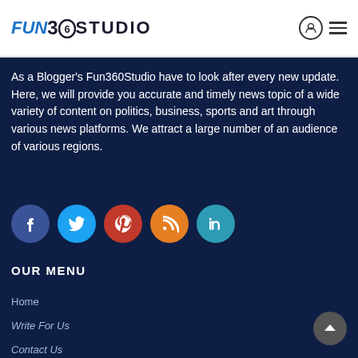[Figure (logo): Fun360Studio logo with 'FUN' in blue italic, '360' in dark with circular O, 'STUDIO' in dark uppercase]
[Figure (infographic): Header icons: user circle icon and hamburger menu icon]
As a Blogger's Fun360Studio have to look after every new update. Here, we will provide you accurate and timely news topic of a wide variety of content on politics, business, sports and art through various news platforms. We attract a large number of an audience of various regions.
[Figure (infographic): Row of 5 social media icon circles: Facebook (blue), Twitter (light blue), Pinterest (red), RSS (orange), LinkedIn (teal)]
OUR MENU
Home
Write For Us
Contact Us